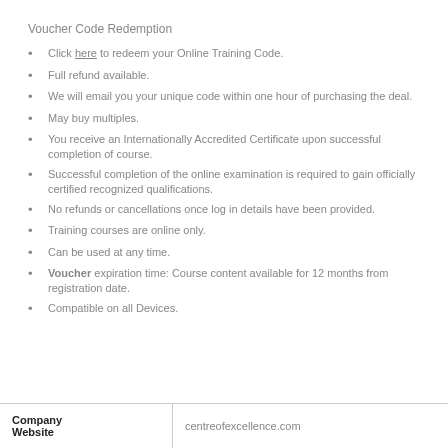Voucher Code Redemption
Click here to redeem your Online Training Code.
Full refund available.
We will email you your unique code within one hour of purchasing the deal.
May buy multiples.
You receive an Internationally Accredited Certificate upon successful completion of course.
Successful completion of the online examination is required to gain officially certified recognized qualifications.
No refunds or cancellations once log in details have been provided.
Training courses are online only.
Can be used at any time.
Voucher expiration time: Course content available for 12 months from registration date.
Compatible on all Devices.
| Company Website |  |
| --- | --- |
| Company Website | centreofexcellence.com |